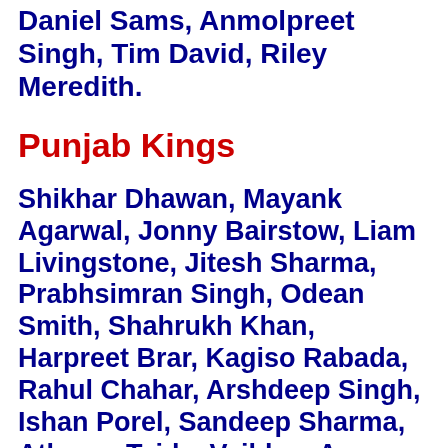Daniel Sams, Anmolpreet Singh, Tim David, Riley Meredith.
Punjab Kings
Shikhar Dhawan, Mayank Agarwal, Jonny Bairstow, Liam Livingstone, Jitesh Sharma, Prabhsimran Singh, Odean Smith, Shahrukh Khan, Harpreet Brar, Kagiso Rabada, Rahul Chahar, Arshdeep Singh, Ishan Porel, Sandeep Sharma, Atharva Taide, Vaibhav Arora, Ansh Patel, Raj Angad Bawa, Benny Howell, Rishi Dhawan, Bhanuka Rajapaksa, Baltej Singh, Writtick Chatterjee, Nathan Ellis, Prerak Mankad.